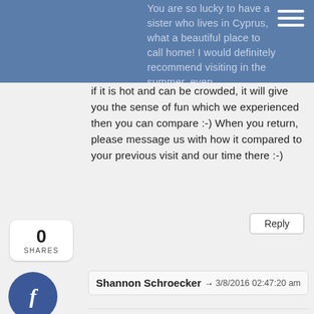You are so lucky to have a sister who lives in Cyprus, what a beautiful place to call home! I would definitely recommend visiting in the summer, even if it is hot and can be crowded, it will give you the sense of fun which we experienced then you can compare :-) When you return, please message us with how it compared to your previous visit and our time there :-)
0 SHARES
Shannon Schroecker → 3/8/2016 02:47:20 am
Your photography is amazing. I loved this post - and the Cuba pictures are very very tempting. My travellust is getting the better of me!
FeetDoTravel 3/8/2016 09:07:34 am
Thank you so much for comments Shannon, they are much appreciated and we are glad you like this